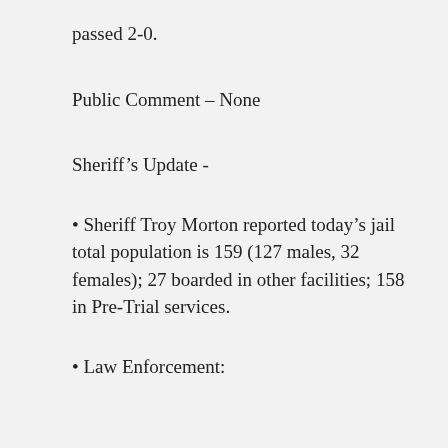passed 2-0.
Public Comment – None
Sheriff's Update -
• Sheriff Troy Morton reported today's jail total population is 159 (127 males, 32 females); 27 boarded in other facilities; 158 in Pre-Trial services.
• Law Enforcement: